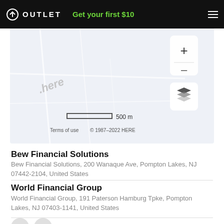OUTLET  Get your first $10
[Figure (map): HERE map showing Pompton Lakes, NJ area with zoom controls, scale bar (500 m), layer switcher button, HERE watermark, and terms of use copyright notice '© 1987–2022 HERE']
Bew Financial Solutions
Bew Financial Solutions, 200 Wanaque Ave, Pompton Lakes, NJ 07442-2104, United States
World Financial Group
World Financial Group, 191 Paterson Hamburg Tpke, Pompton Lakes, NJ 07403-1141, United States